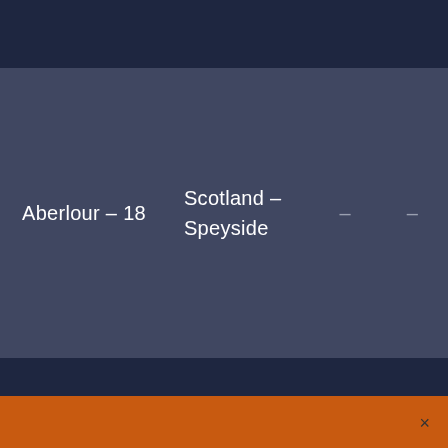Aberlour – 18
Scotland – Speyside
– –
×